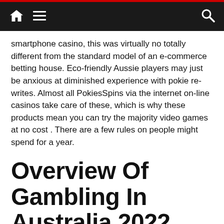Navigation bar with home, menu, and search icons
smartphone casino, this was virtually no totally different from the standard model of an e-commerce betting house. Eco-friendly Aussie players may just be anxious at diminished experience with pokie re-writes. Almost all PokiesSpins via the internet on-line casinos take care of these, which is why these products mean you can try the majority video games at no cost . There are a few rules on people might spend for a year.
Overview Of Gambling In Australia 2022
Based on eCORGA”s terms any agreed payment percentages are generally assessed within self-